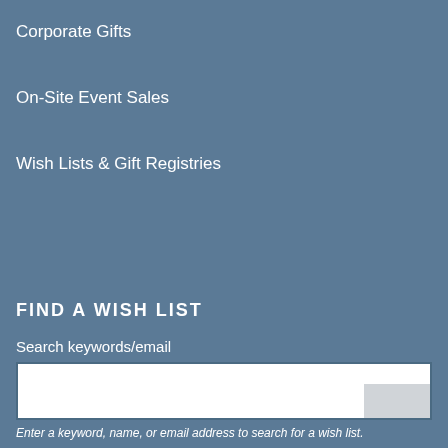Corporate Gifts
On-Site Event Sales
Wish Lists & Gift Registries
FIND A WISH LIST
Search keywords/email
[Figure (other): Search input text box with a grey button area at bottom right]
Enter a keyword, name, or email address to search for a wish list.